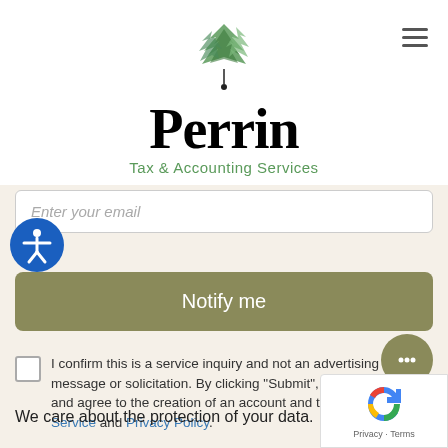[Figure (logo): Perrin Tax & Accounting Services logo with green geometric tree icon above bold serif 'Perrin' text and green 'Tax & Accounting Services' tagline]
Enter your email
[Figure (other): Blue circular accessibility/wheelchair icon button]
Notify me
I confirm this is a service inquiry and not an advertising message or solicitation. By clicking "Submit", I acknowledge and agree to the creation of an account and to the Terms of Service and Privacy Policy.
[Figure (other): Olive/green circular chat bubble button with ellipsis icon]
We care about the protection of your data.
[Figure (other): Google reCAPTCHA logo with Privacy and Terms text]